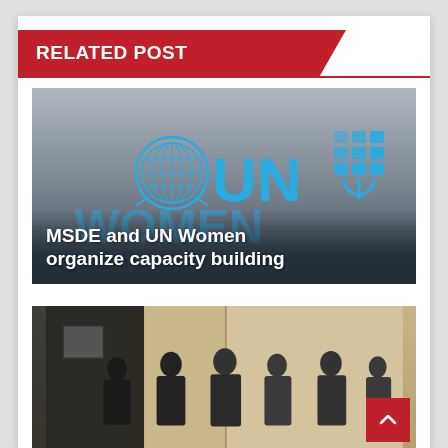RELATED POST
[Figure (photo): UN Women logo over dark background with overlaid title text 'MSDE and UN Women organize capacity building']
MSDE and UN Women organize capacity building
[Figure (photo): Group of people (officials) standing together in an office or conference room setting with a beige partition visible in background]